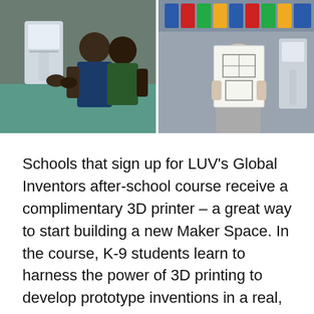[Figure (photo): Two side-by-side classroom photos. Left: students gathered around a 3D printer, hands-on activity. Right: a student holding up a hand-drawn design sketch, with a 3D printer visible in the background.]
Schools that sign up for LUV's Global Inventors after-school course receive a complimentary 3D printer – a great way to start building a new Maker Space. In the course, K-9 students learn to harness the power of 3D printing to develop prototype inventions in a real, global context. By partnering with LUV, U.S. schools directly sponsor Global STEAM education in developing countries through its give one, get one classroom model. A portion of the tuition is used to